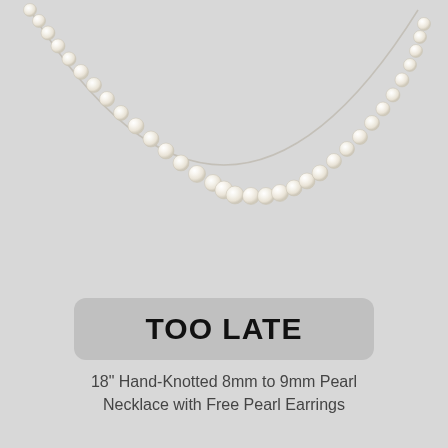[Figure (photo): Pearl necklace with hand-knotted white/cream pearls arranged in a curved arc, photographed against a light gray background, showing approximately 8mm to 9mm pearls strung together.]
TOO LATE
18" Hand-Knotted 8mm to 9mm Pearl Necklace with Free Pearl Earrings